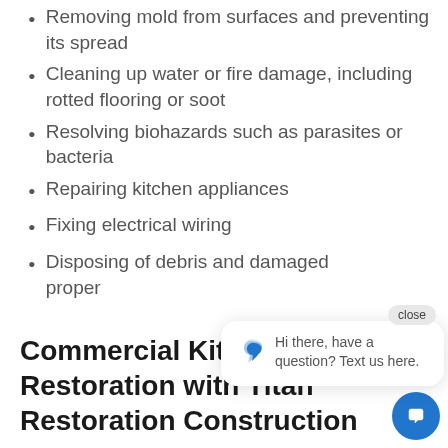Removing mold from surfaces and preventing its spread
Cleaning up water or fire damage, including rotted flooring or soot
Resolving biohazards such as parasites or bacteria
Repairing kitchen appliances
Fixing electrical wiring
Disposing of debris and damaged proper
Commercial Kitchen Restoration with Titan Restoration Construction